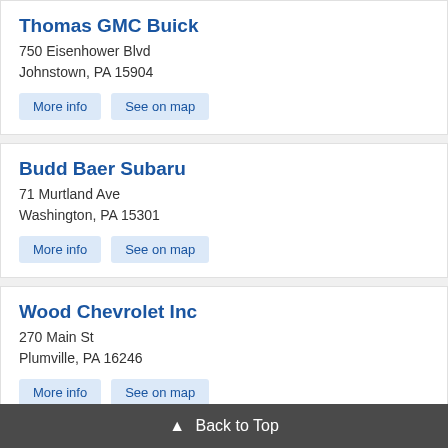Thomas GMC Buick
750 Eisenhower Blvd
Johnstown, PA 15904
More info
See on map
Budd Baer Subaru
71 Murtland Ave
Washington, PA 15301
More info
See on map
Wood Chevrolet Inc
270 Main St
Plumville, PA 16246
More info
See on map
Memorial Highway Chevrolet
1 Chevy Dr
Windber, PA 15963
▲ Back to Top